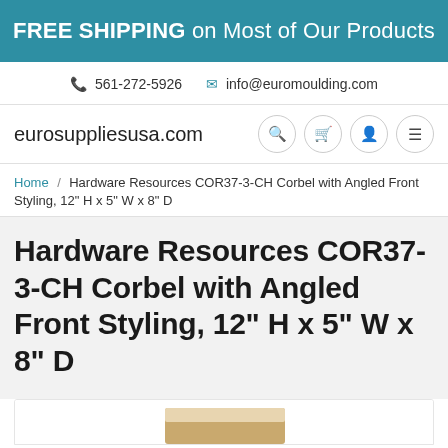FREE SHIPPING on Most of Our Products
561-272-5926  info@euromoulding.com
eurosuppliesusa.com
Home / Hardware Resources COR37-3-CH Corbel with Angled Front Styling, 12" H x 5" W x 8" D
Hardware Resources COR37-3-CH Corbel with Angled Front Styling, 12" H x 5" W x 8" D